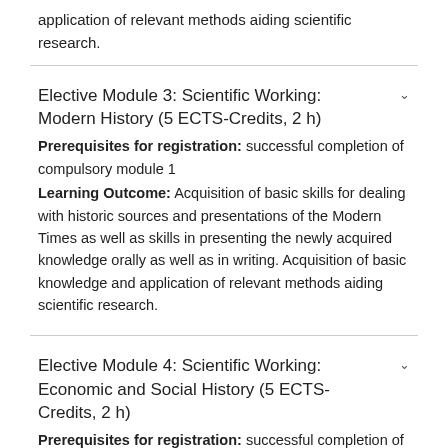application of relevant methods aiding scientific research.
Elective Module 3: Scientific Working: Modern History (5 ECTS-Credits, 2 h)
Prerequisites for registration: successful completion of compulsory module 1
Learning Outcome: Acquisition of basic skills for dealing with historic sources and presentations of the Modern Times as well as skills in presenting the newly acquired knowledge orally as well as in writing. Acquisition of basic knowledge and application of relevant methods aiding scientific research.
Elective Module 4: Scientific Working: Economic and Social History (5 ECTS-Credits, 2 h)
Prerequisites for registration: successful completion of compulsory module 1
Learning Outcome: Acquisition of basic skills for dealing with historic sources and presentations in Economic and Social History as well as skills in presenting the newly acquired knowledge orally as well as in writing. Acquisition of basic